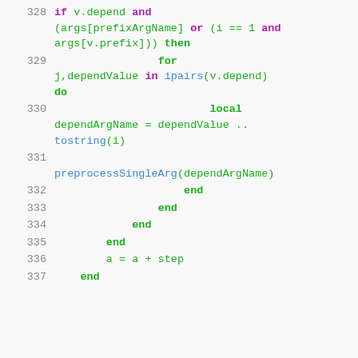Code snippet lines 328–337 showing Lua code with keywords: if, and, or, then, for, in, do, local, end
[Figure (screenshot): Source code listing with line numbers 328-337, showing Lua code with syntax highlighting: keywords in purple/bold-green, function names in blue, regular code in green]